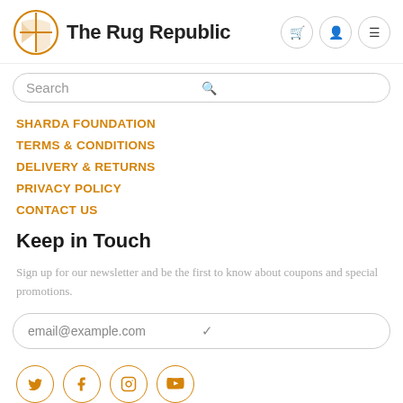[Figure (logo): The Rug Republic logo with orange geometric circular icon and bold text]
SHARDA FOUNDATION
TERMS & CONDITIONS
DELIVERY & RETURNS
PRIVACY POLICY
CONTACT US
Keep in Touch
Sign up for our newsletter and be the first to know about coupons and special promotions.
[Figure (screenshot): Email input field with placeholder text email@example.com and a checkmark icon]
[Figure (illustration): Social media icons: Twitter, Facebook, Instagram, YouTube in orange outlined circles]